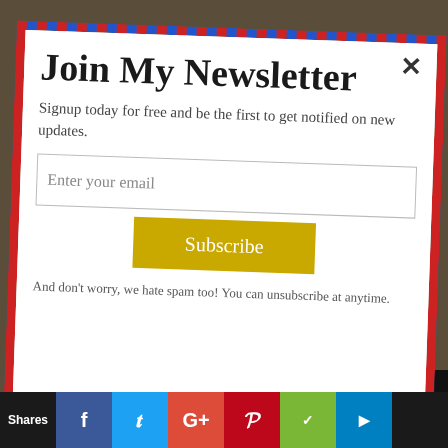Join My Newsletter
Signup today for free and be the first to get notified on new updates.
[Figure (screenshot): Email input field with placeholder text 'Enter your email']
[Figure (screenshot): Subscribe button in gold/yellow color]
And don't worry, we hate spam too! You can unsubscribe at anytime.
July 28, 2014  mamafoos  2 Comments
powered by MailMunch
Shares